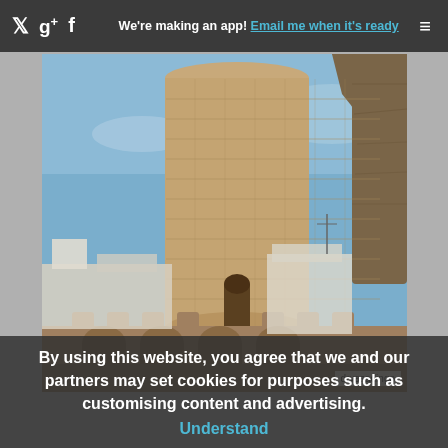We're making an app! Email me when it's ready
[Figure (photo): A tall cylindrical stone tower (minaret) photographed from below against a blue sky, with ancient stone walls and white buildings visible in the background. A watermark reads 'dryasadingo'.]
By using this website, you agree that we and our partners may set cookies for purposes such as customising content and advertising.
Understand